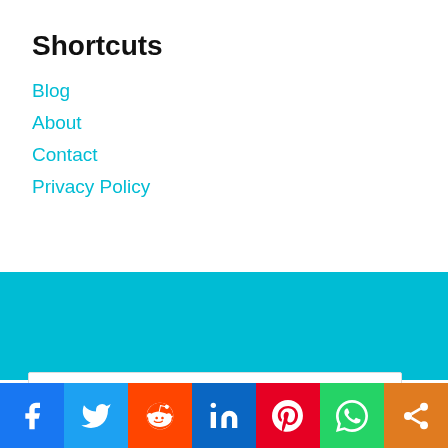Shortcuts
Blog
About
Contact
Privacy Policy
[Figure (screenshot): Teal/cyan decorative banner band]
[Figure (screenshot): Store card showing logo, checkmark items: In-store shopping, In-store pickup, Delivery, and a blue navigation arrow]
[Figure (infographic): Social sharing bar with Facebook, Twitter, Reddit, LinkedIn, Pinterest, WhatsApp, and Share buttons]